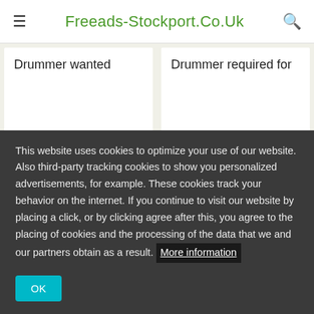≡  Freeads-Stockport.Co.Uk  🔍
Drummer wanted
Drummer required for
This website uses cookies to optimize your use of our website. Also third-party tracking cookies to show you personalized advertisements, for example. These cookies track your behavior on the internet. If you continue to visit our website by placing a click, or by clicking agree after this, you agree to the placing of cookies and the processing of the data that we and our partners obtain as a result. More information
OK